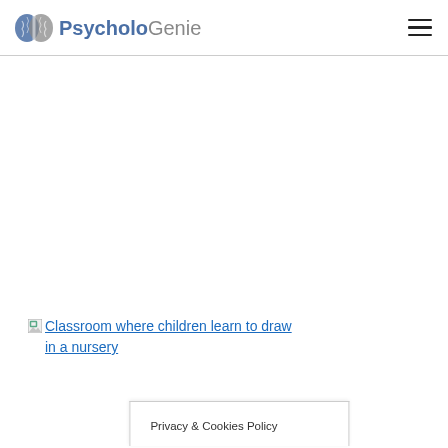PsycholoGenie
[Figure (logo): PsycholoGenie website logo with brain icon and site name]
[Figure (photo): Broken image placeholder with alt text: Classroom where children learn to draw in a nursery]
Privacy & Cookies Policy